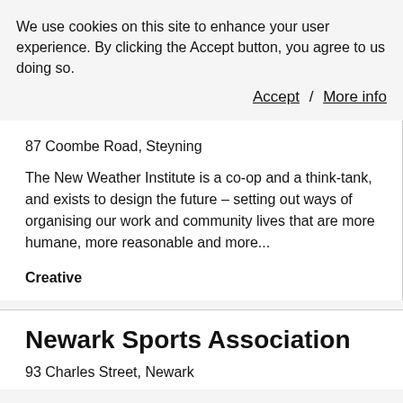We use cookies on this site to enhance your user experience. By clicking the Accept button, you agree to us doing so.
Accept / More info
87 Coombe Road, Steyning
The New Weather Institute is a co-op and a think-tank, and exists to design the future – setting out ways of organising our work and community lives that are more humane, more reasonable and more...
Creative
Newark Sports Association
93 Charles Street, Newark